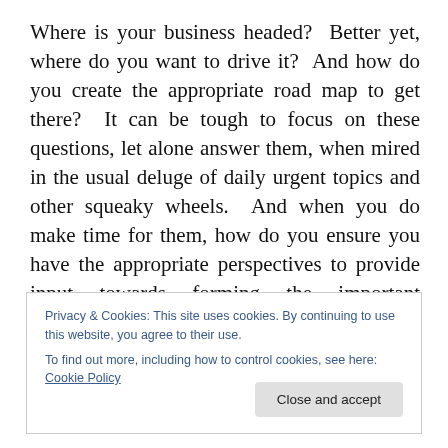Where is your business headed?  Better yet, where do you want to drive it?  And how do you create the appropriate road map to get there?  It can be tough to focus on these questions, let alone answer them, when mired in the usual deluge of daily urgent topics and other squeaky wheels.  And when you do make time for them, how do you ensure you have the appropriate perspectives to provide input towards forming the important answers?  Challenges abound, and one tool to address them is not a new one – brainstorming.  Brainstorming can be a productive tactic to
Privacy & Cookies: This site uses cookies. By continuing to use this website, you agree to their use.
To find out more, including how to control cookies, see here: Cookie Policy
Close and accept